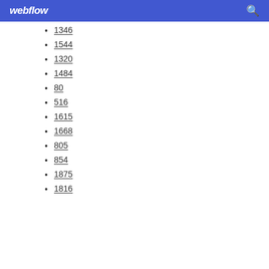webflow
1346
1544
1320
1484
80
516
1615
1668
805
854
1875
1816